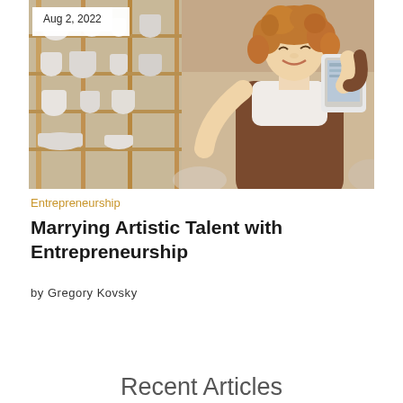[Figure (photo): A smiling woman with curly hair wearing a brown apron and holding a tablet, standing in a pottery studio with shelves of ceramic pieces in the background. A white date badge showing 'Aug 2, 2022' overlays the top-left corner of the image.]
Entrepreneurship
Marrying Artistic Talent with Entrepreneurship
by Gregory Kovsky
Recent Articles